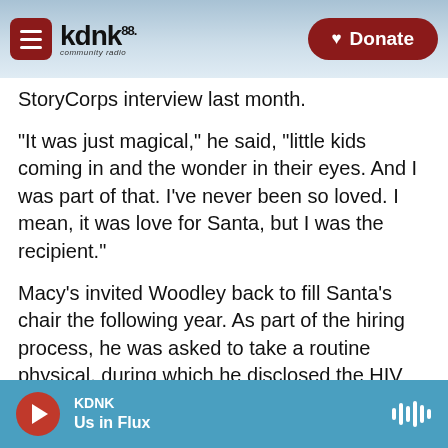KDNK 88.1 community radio | Donate
StoryCorps interview last month.
"It was just magical," he said, "little kids coming in and the wonder in their eyes. And I was part of that. I've never been so loved. I mean, it was love for Santa, but I was the recipient."
Macy's invited Woodley back to fill Santa's chair the following year. As part of the hiring process, he was asked to take a routine physical, during which he disclosed the HIV and mental health medications he'd been taking.
"I was just honest," Woodley said. "And the minute I
KDNK | Us in Flux